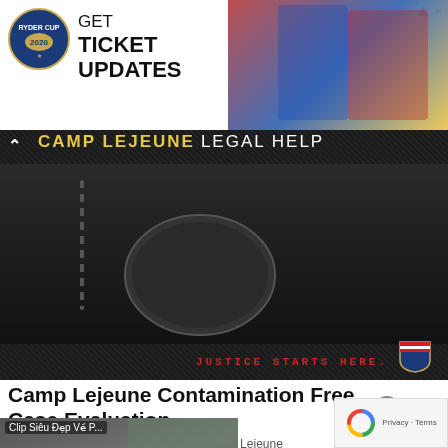[Figure (screenshot): Ryder Cup ad banner: logo on left with GET TICKET UPDATES text, golfers on right]
[Figure (screenshot): Camp Lejeune Legal Help advertisement banner: dark background with dog tag, text CAMP LEJEUNE LEGAL HELP, JUSTICE STARTS HERE with US shield]
Camp Lejeune Contamination Free Case Evaluation
Did you or a loved one serve or live at Camp Lejeune
[Figure (screenshot): Video thumbnail: Clip Sieu Dep Ve P... with play button over street scene]
[Figure (screenshot): reCAPTCHA Privacy - Terms widget bottom right]